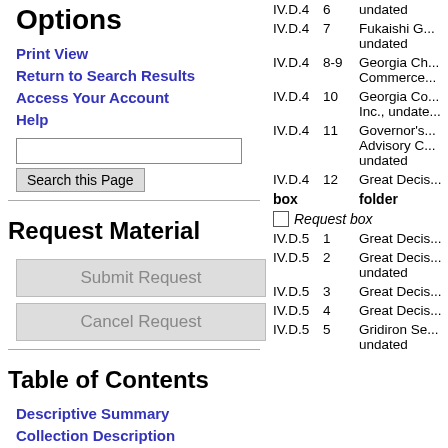Options
Print View
Return to Search Results
Access Your Account
Help
Request Material
Submit Request
Cancel Request
Table of Contents
Descriptive Summary
Collection Description
Administrative Information
| box | folder |  |
| --- | --- | --- |
| IV.D.4 | 6 | undated |
| IV.D.4 | 7 | Fukaishi G...
undated |
| IV.D.4 | 8-9 | Georgia Ch...
Commerce... |
| IV.D.4 | 10 | Georgia Co...
Inc., undate... |
| IV.D.4 | 11 | Governor's...
Advisory C...
undated |
| IV.D.4 | 12 | Great Decis... |
| box | folder |  |
|  |  | Request box |
| IV.D.5 | 1 | Great Decis... |
| IV.D.5 | 2 | Great Decis...
undated |
| IV.D.5 | 3 | Great Decis... |
| IV.D.5 | 4 | Great Decis... |
| IV.D.5 | 5 | Gridiron Se...
undated |